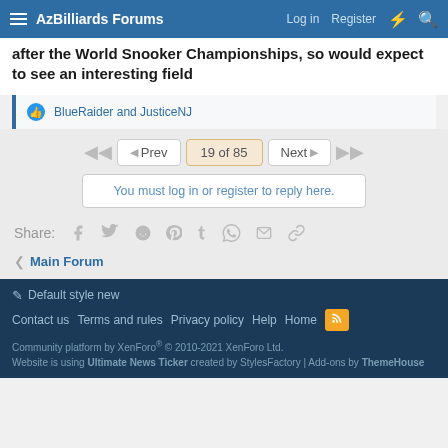AzBilliards Forums — Log in | Register
after the World Snooker Championships, so would expect to see an interesting field
BlueRaider and JusticeNJ
19 of 85
You must log in or register to reply here.
Share:
Main Forum
Default style new | Contact us | Terms and rules | Privacy policy | Help | Home | Community platform by XenForo® © 2010-2021 XenForo Ltd. Website is using Ultimate News Ticker created by StylesFactory | Add-ons by ThemeHouse